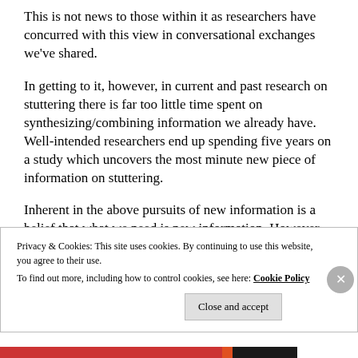This is not news to those within it as researchers have concurred with this view in conversational exchanges we've shared.
In getting to it, however, in current and past research on stuttering there is far too little time spent on synthesizing/combining information we already have. Well-intended researchers end up spending five years on a study which uncovers the most minute new piece of information on stuttering.
Inherent in the above pursuits of new information is a belief that what we need is new information. However
Privacy & Cookies: This site uses cookies. By continuing to use this website, you agree to their use.
To find out more, including how to control cookies, see here: Cookie Policy